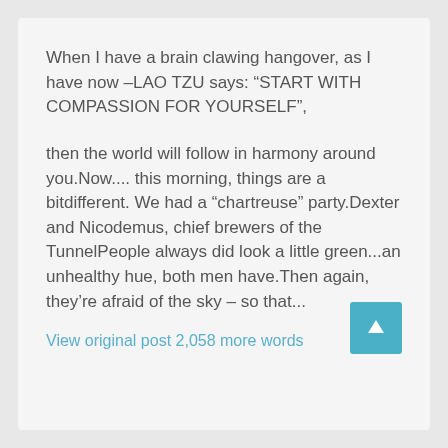When I have a brain clawing hangover, as I have now –LAO TZU says: “START WITH COMPASSION FOR YOURSELF”,
then the world will follow in harmony around you.Now.... this morning, things are a bitdifferent. We had a “chartreuse” party.Dexter and Nicodemus, chief brewers of the TunnelPeople always did look a little green...an unhealthy hue, both men have.Then again, they’re afraid of the sky – so that...
View original post 2,058 more words